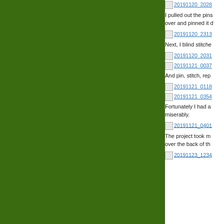[Figure (screenshot): Left green panel — large solid dark green rectangle occupying the left portion of the page]
20191120_2028...
I pulled out the pins... over and pinned it...
20191120_2313...
Next, I blind stitche...
20191120_2031...
20191121_0037...
And pin, stitch, rep...
20191121_0118...
20191121_0354...
Fortunately I had a... miserably.
20191121_0401...
The project took m... over the back of th...
20191123_1234...